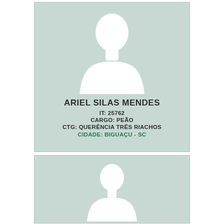[Figure (illustration): ID card with placeholder silhouette icon on green-grey background, showing person profile info: ARIEL SILAS MENDES, IT: 25762, CARGO: PEÃO, CTG: QUERÊNCIA TRÊS RIACHOS, CIDADE: BIGUAÇU - SC]
ARIEL SILAS MENDES
IT: 25762
CARGO: PEÃO
CTG: QUERÊNCIA TRÊS RIACHOS
CIDADE: BIGUAÇU - SC
[Figure (illustration): Second ID card partial view with placeholder silhouette icon on green-grey background, bottom of page]